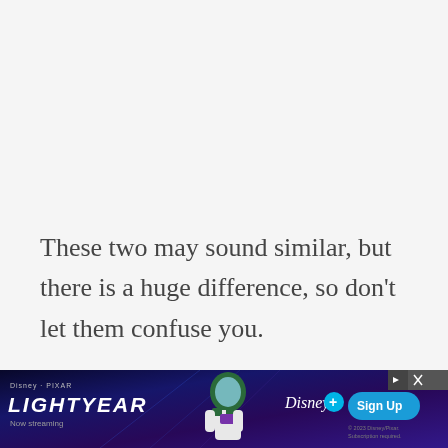These two may sound similar, but there is a huge difference, so don’t let them confuse you.
It is my hope that you can use the tips I gave you to make sure everyone in the hou...
[Figure (screenshot): Disney Pixar Lightyear advertisement banner with 'Sign Up' button for Disney+ streaming service. Shows 'Now streaming' text and Buzz Lightyear character.]